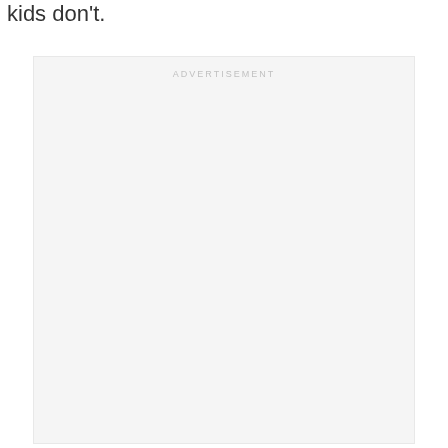kids don't.
[Figure (other): Advertisement placeholder box with light gray background and 'ADVERTISEMENT' label at the top center]